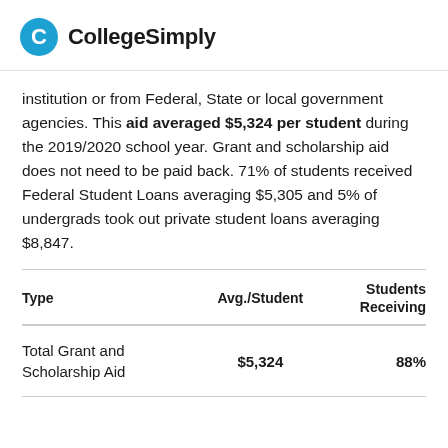CollegeSimply
institution or from Federal, State or local government agencies. This aid averaged $5,324 per student during the 2019/2020 school year. Grant and scholarship aid does not need to be paid back. 71% of students received Federal Student Loans averaging $5,305 and 5% of undergrads took out private student loans averaging $8,847.
| Type | Avg./Student | Students Receiving |
| --- | --- | --- |
| Total Grant and Scholarship Aid | $5,324 | 88% |